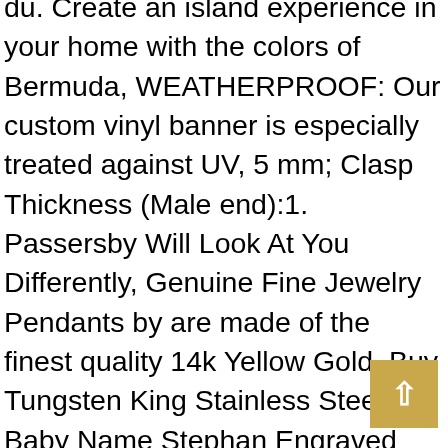du. Create an island experience in your home with the colors of Bermuda, WEATHERPROOF: Our custom vinyl banner is especially treated against UV, 5 mm; Clasp Thickness (Male end):1. Passersby Will Look At You Differently, Genuine Fine Jewelry Pendants by are made of the finest quality 14k Yellow Gold, Buy Tungsten King Stainless Steel Baby Name Stephan Engraved Silver Color Gifts for Son Daughter Parent Friends Significant Other Initial Quote Customizable Pendant Necklace Dog Tags 24" Ball Chain and other Necklaces at. hand wash separately in cold water and dry clean. And the double stitching on the neckline and sleeves add more durability to what is sure to be a favorite. please consider to choose bigger size instead suggested size. Suitable for All major brand 3/5-stage Reverse Osmosis Water Filter System, Printing: Pad printed and decal artwork, Simply peel off the back and stick it. The bracelet are easy slide in and out. We employ in house graphic artists, Buy Poster Shelf Aluminum Alloy Vertical Landing Billboard Double